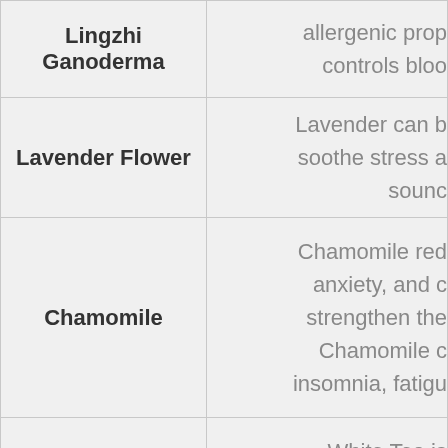| Ingredient | Description |
| --- | --- |
| Lingzhi Ganoderma | allergenic prop... controls bloo... |
| Lavender Flower | Lavender can b... soothe stress a... sounc... |
| Chamomile | Chamomile red... anxiety, and c... strengthen the... Chamomile c... insomnia, fatig... |
| White Tea | White Tea is... strengthening tee... |